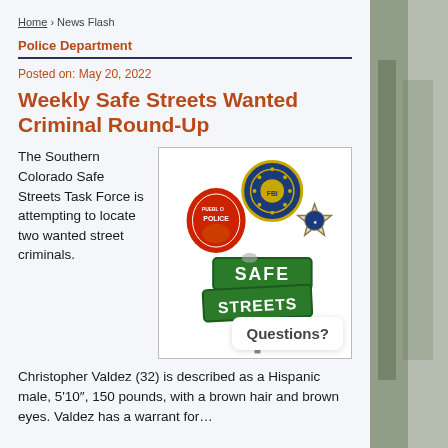Home › News Flash
Police Department
Posted on: May 20, 2022
Weekly Safe Streets Wanted Criminal Round-Up
The Southern Colorado Safe Streets Task Force is attempting to locate two wanted street criminals.
[Figure (illustration): Safe Streets Task Force logo image showing Pueblo Police badge, FBI seal, sheriff star badge, and green Safe Streets road signs]
Christopher Valdez (32) is described as a Hispanic male, 5'10", 150 pounds, with a brown hair and brown eyes. Valdez has a warrant for…